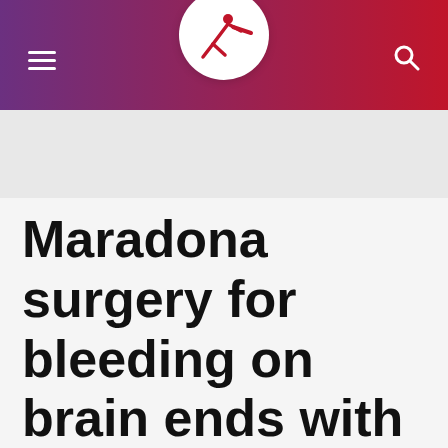Maradona surgery for bleeding on brain ends with success - news website header
Advertisement
Maradona surgery for bleeding on brain ends with success